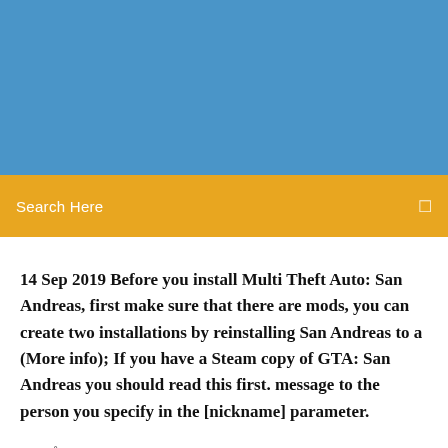[Figure (other): Blue header banner background]
Search Here
14 Sep 2019 Before you install Multi Theft Auto: San Andreas, first make sure that there are mods, you can create two installations by reinstalling San Andreas to a (More info); If you have a Steam copy of GTA: San Andreas you should read this first. message to the person you specify in the [nickname] parameter.
Můžete se těšit na plně trojrozměrnou akční hru z pohledu třetí